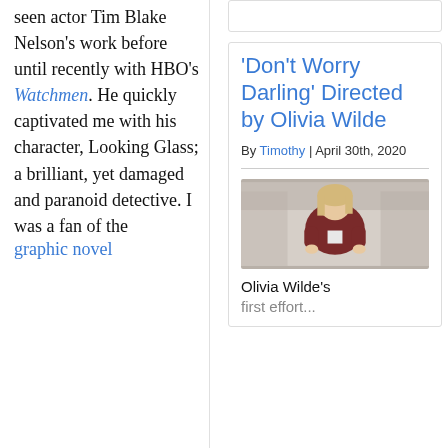seen actor Tim Blake Nelson's work before until recently with HBO's Watchmen. He quickly captivated me with his character, Looking Glass; a brilliant, yet damaged and paranoid detective. I was a fan of the graphic novel
'Don't Worry Darling' Directed by Olivia Wilde
By Timothy | April 30th, 2020
[Figure (photo): Photo of a woman (Olivia Wilde) with blonde hair wearing a dark red jacket, standing outdoors]
Olivia Wilde's first effort...